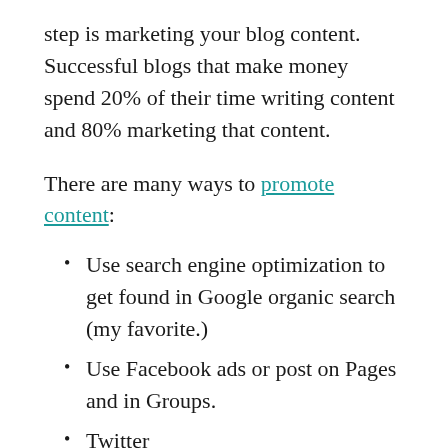step is marketing your blog content. Successful blogs that make money spend 20% of their time writing content and 80% marketing that content.
There are many ways to promote content:
Use search engine optimization to get found in Google organic search (my favorite.)
Use Facebook ads or post on Pages and in Groups.
Twitter
Pinterest
Instagram
The list goes on. Without marketing, the chances of your blog content attracting people is slim to